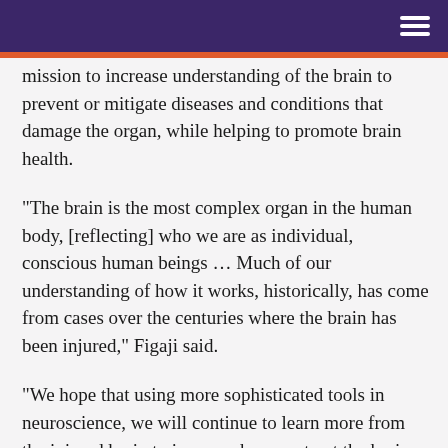mission to increase understanding of the brain to prevent or mitigate diseases and conditions that damage the organ, while helping to promote brain health.
"The brain is the most complex organ in the human body, [reflecting] who we are as individual, conscious human beings … Much of our understanding of how it works, historically, has come from cases over the centuries where the brain has been injured," Figaji said.
"We hope that using more sophisticated tools in neuroscience, we will continue to learn more from the injured brain to improve how we treat the brain and how we protect it."
When it comes to impacting policy, prevention of TBI is a critical strategy. Through this work, the researchers plan to highlight the role of prevention in road traffic accidents, assaults, falls, and inflicted injury in young children.